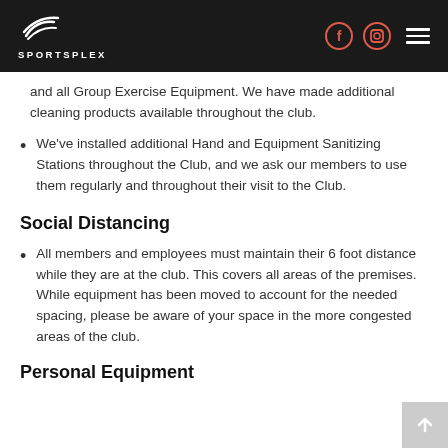SPORTSPLEX
and all Group Exercise Equipment. We have made additional cleaning products available throughout the club.
We've installed additional Hand and Equipment Sanitizing Stations throughout the Club, and we ask our members to use them regularly and throughout their visit to the Club.
Social Distancing
All members and employees must maintain their 6 foot distance while they are at the club. This covers all areas of the premises. While equipment has been moved to account for the needed spacing, please be aware of your space in the more congested areas of the club.
Personal Equipment